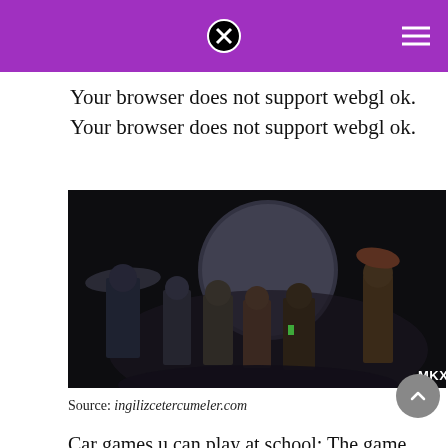Your browser does not support webgl ok.
Your browser does not support webgl ok.
[Figure (photo): Dark promotional image showing Mortal Kombat X characters lined up with a large moon in the background. Characters include Raiden with his conical hat on the left and other fighters. MKX watermark appears in the bottom right corner.]
Source: ingilizcetercumeler.com
Car games u can play at school; The game was made using the unity player and has just a brilliant 3d graphics